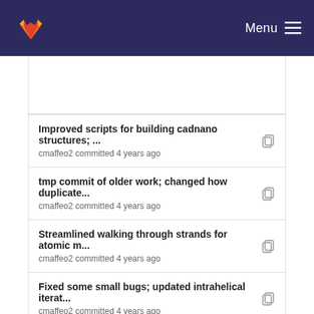GitLab Menu
Improved scripts for building cadnano structures; ...
cmaffeo2 committed 4 years ago
tmp commit of older work; changed how duplicate...
cmaffeo2 committed 4 years ago
Streamlined walking through strands for atomic m...
cmaffeo2 committed 4 years ago
Fixed some small bugs; updated intrahelical iterat...
cmaffeo2 committed 4 years ago
Streamlined walking through strands for atomic m...
cmaffeo2 committed 4 years ago